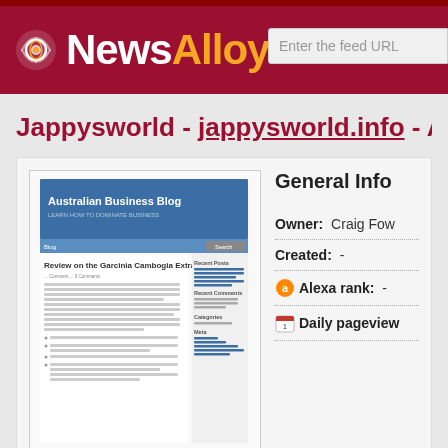[Figure (logo): NewsAlloy logo with icon on dark red background header, plus search box on right]
Jappysworld - jappysworld.info - Aus
[Figure (screenshot): Screenshot of Australian Business Blog website showing article 'Review on the Garcinia Cambogia Extract']
General Info
Owner: Craig Fow
Created: -
Alexa rank: -
Daily pageview